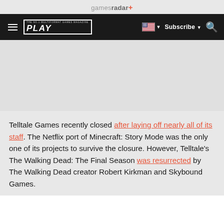gamesradar+
PLAY | Subscribe | Search
Telltale Games recently closed after laying off nearly all of its staff. The Netflix port of Minecraft: Story Mode was the only one of its projects to survive the closure. However, Telltale's The Walking Dead: The Final Season was resurrected by The Walking Dead creator Robert Kirkman and Skybound Games.